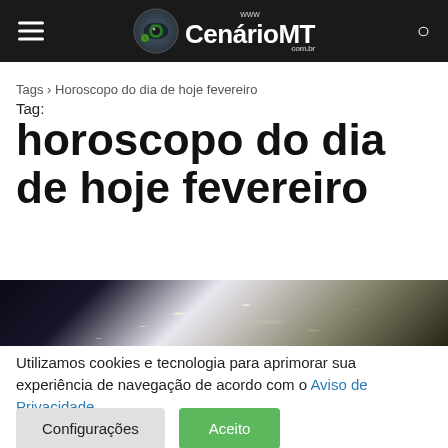www CenárioMT com.br
Tags › Horoscopo do dia de hoje fevereiro
Tag:
horoscopo do dia de hoje fevereiro
[Figure (photo): Dark mystical image with constellation-like light patterns and starry sky, used as article thumbnail for horoscope content]
Utilizamos cookies e tecnologia para aprimorar sua experiência de navegação de acordo com o Aviso de Privacidade.
Configurações   Aceito